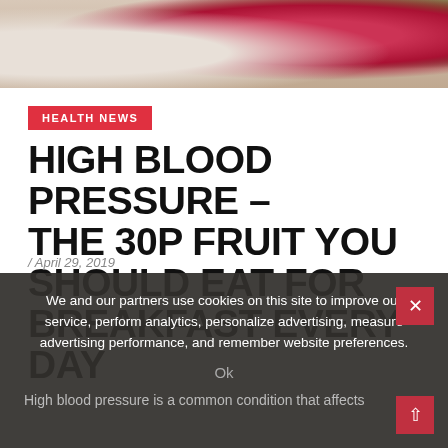[Figure (photo): Banner photo showing berries (raspberries, blackberries) and a green fruit, with a hand writing in a notebook on the left side]
HEALTH NEWS
HIGH BLOOD PRESSURE – THE 30P FRUIT YOU SHOULD EAT FOR BREAKFAST EVERY DAY
/ April 29, 2019
We and our partners use cookies on this site to improve our service, perform analytics, personalize advertising, measure advertising performance, and remember website preferences.
Ok
High blood pressure is a common condition that affects